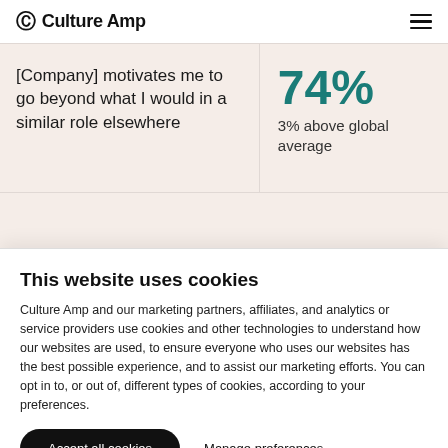Culture Amp
[Company] motivates me to go beyond what I would in a similar role elsewhere
74% 3% above global average
This website uses cookies
Culture Amp and our marketing partners, affiliates, and analytics or service providers use cookies and other technologies to understand how our websites are used, to ensure everyone who uses our websites has the best possible experience, and to assist our marketing efforts. You can opt in to, or out of, different types of cookies, according to your preferences.
Accept all cookies
Manage preferences